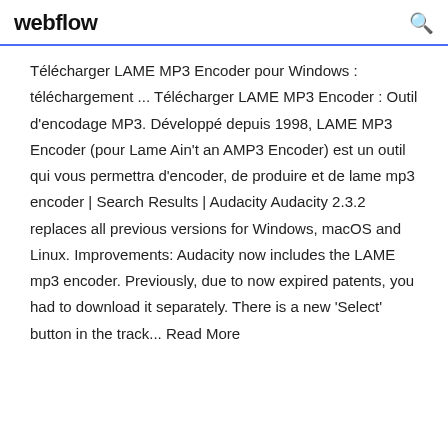webflow
Télécharger LAME MP3 Encoder pour Windows : téléchargement ... Télécharger LAME MP3 Encoder : Outil d'encodage MP3. Développé depuis 1998, LAME MP3 Encoder (pour Lame Ain't an AMP3 Encoder) est un outil qui vous permettra d'encoder, de produire et de lame mp3 encoder | Search Results | Audacity Audacity 2.3.2 replaces all previous versions for Windows, macOS and Linux. Improvements: Audacity now includes the LAME mp3 encoder. Previously, due to now expired patents, you had to download it separately. There is a new 'Select' button in the track... Read More